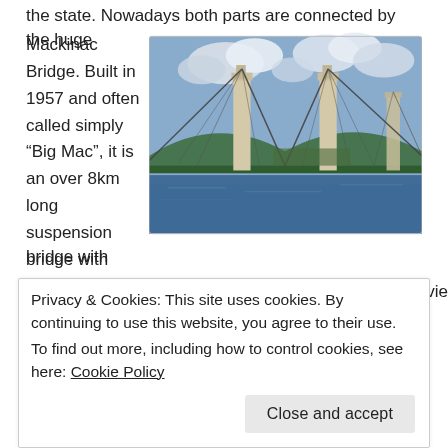the state. Nowadays both parts are connected by the huge Mackinac Bridge. Built in 1957 and often called simply “Big Mac”, it is an over 8km long suspension bridge with a main span measuring over 1.1 km. There are good viewing
[Figure (photo): Photograph of the Mackinac Bridge, a large suspension bridge with green steel arch spans and tall beige concrete towers, spanning blue water under a partly cloudy sky.]
Privacy & Cookies: This site uses cookies. By continuing to use this website, you agree to their use.
To find out more, including how to control cookies, see here: Cookie Policy